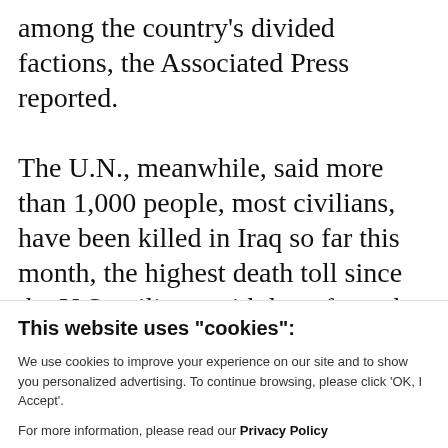among the country's divided factions, the Associated Press reported.
The U.N., meanwhile, said more than 1,000 people, most civilians, have been killed in Iraq so far this month, the highest death toll since the U.S. military withdrew from the country in December 2011.
This website uses "cookies":
We use cookies to improve your experience on our site and to show you personalized advertising. To continue browsing, please click 'OK, I Accept'.
For more information, please read our Privacy Policy
Ok, I Accept